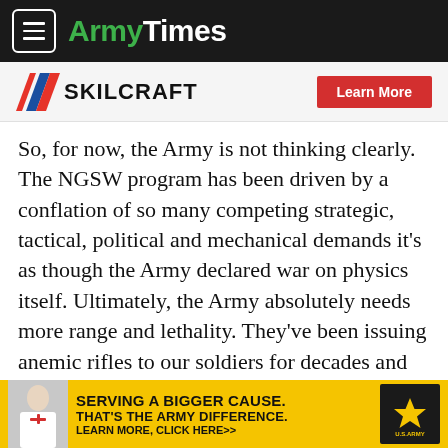ArmyTimes
[Figure (logo): SKILCRAFT logo with diagonal stripe mark and a red Learn More button]
So, for now, the Army is not thinking clearly. The NGSW program has been driven by a conflation of so many competing strategic, tactical, political and mechanical demands it's as though the Army declared war on physics itself. Ultimately, the Army absolutely needs more range and lethality. They've been issuing anemic rifles to our soldiers for decades and just for ease (again) kept a rifle literally designed for one end of the spectrum of infantry warfare. How we get to a bell-curve on small-arms remains elusive and one feels the
[Figure (infographic): Yellow U.S. Army advertisement banner: SERVING A BIGGER CAUSE. THAT'S THE ARMY DIFFERENCE. LEARN MORE, CLICK HERE>> with Army star logo and doctor photo]